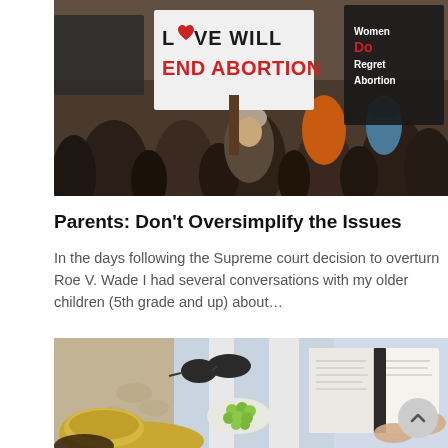[Figure (photo): Protest crowd holding signs including 'LOVE WILL END ABORTION' and 'Women Regret Abortion']
Parents: Don't Oversimplify the Issues
In the days following the Supreme court decision to overturn Roe V. Wade I had several conversations with my older children (5th grade and up) about…
[Figure (photo): Overhead view of woman reading a book on a beach blanket with sunglasses, grapes, and a straw hat on sand]